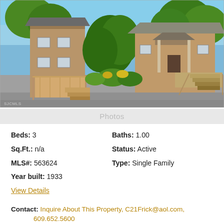[Figure (photo): Exterior photo of a two-story wooden house with decks, stairs, green trees, and a driveway in the foreground. Watermark 'SJCMLS' at bottom left.]
Photos
Beds: 3
Baths: 1.00
Sq.Ft.: n/a
Status: Active
MLS#: 563624
Type: Single Family
Year built: 1933
View Details
Contact: Inquire About This Property, C21Frick@aol.com, 609.652.5600
Broker: Courtesy: RE/MAX PLATINUM PROPERTIES R...